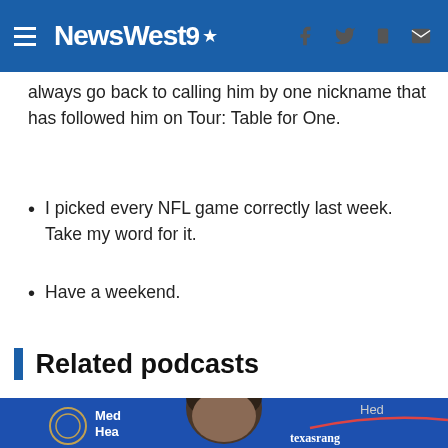NewsWest9
always go back to calling him by one nickname that has followed him on Tour: Table for One.
I picked every NFL game correctly last week. Take my word for it.
Have a weekend.
Related podcasts
[Figure (photo): Man in suit at press conference with blue background showing Medical/Health and Texas Rangers logos]